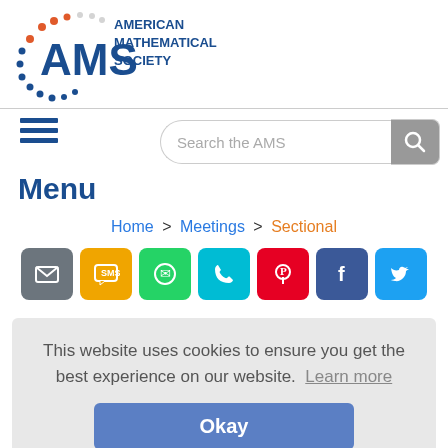[Figure (logo): American Mathematical Society (AMS) logo with colorful dot pattern and blue text]
[Figure (other): Search bar with placeholder 'Search the AMS' and gray search button]
[Figure (other): Hamburger menu icon (three horizontal blue lines)]
Menu
Home > Meetings > Sectional
[Figure (other): Row of 7 social sharing icon buttons: email (gray), SMS (yellow), WhatsApp (green), phone (cyan), Pinterest (red), Facebook (blue), Twitter (light blue)]
This website uses cookies to ensure you get the best experience on our website. Learn more
Okay